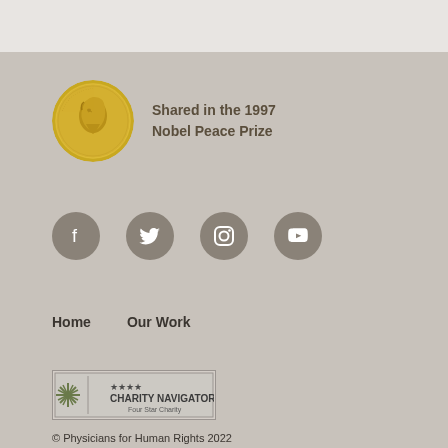[Figure (illustration): Nobel Peace Prize medal (gold coin with face profile) next to text 'Shared in the 1997 Nobel Peace Prize']
Shared in the 1997 Nobel Peace Prize
[Figure (other): Four social media icons: Facebook, Twitter, Instagram, YouTube — grey circles with white icons]
Home
Our Work
[Figure (logo): Charity Navigator Four Star Charity badge]
© Physicians for Human Rights 2022
PHR Privacy Policy